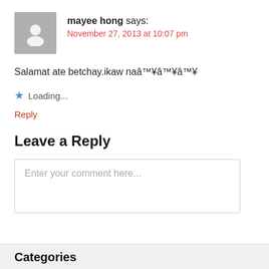mayee hong says:
November 27, 2013 at 10:07 pm
Salamat ate betchay.ikaw naâ™¥â™¥â™¥
Loading...
Reply
Leave a Reply
Enter your comment here...
Categories